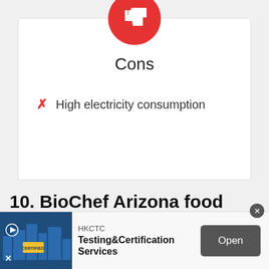[Figure (illustration): Red circle with white thumbs-down icon, representing Cons section header]
Cons
High electricity consumption
10. BioChef Arizona food dehydrator for beef jerky
[Figure (infographic): Advertisement banner: HKCTC Testing&Certification Services with Open button]